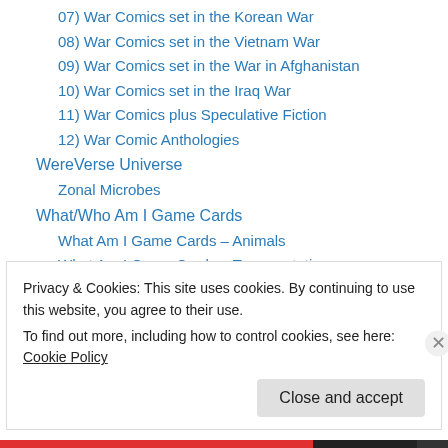07) War Comics set in the Korean War
08) War Comics set in the Vietnam War
09) War Comics set in the War in Afghanistan
10) War Comics set in the Iraq War
11) War Comics plus Speculative Fiction
12) War Comic Anthologies
WereVerse Universe
Zonal Microbes
What/Who Am I Game Cards
What Am I Game Cards – Animals
What Am I Game Cards – Transportation
Who Am I Game Cards – Disney Characters
Who Am I Game Cards – Famous People
Privacy & Cookies: This site uses cookies. By continuing to use this website, you agree to their use.
To find out more, including how to control cookies, see here: Cookie Policy